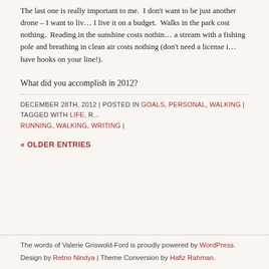The last one is really important to me. I don't want to be just another drone – I want to liv… I live it on a budget. Walks in the park cost nothing. Reading in the sunshine costs nothin… a stream with a fishing pole and breathing in clean air costs nothing (don't need a license i… have hooks on your line!).
What did you accomplish in 2012?
DECEMBER 28TH, 2012 | POSTED IN GOALS, PERSONAL, WALKING | TAGGED WITH LIFE, R… RUNNING, WALKING, WRITING |
« OLDER ENTRIES
The words of Valerie Griswold-Ford is proudly powered by WordPress. Design by Retno Nindya | Theme Conversion by Hafiz Rahman.